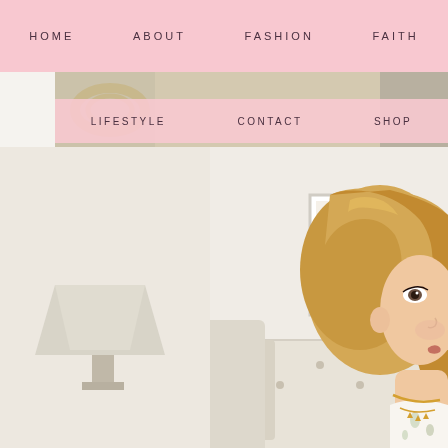HOME   ABOUT   FASHION   FAITH
LIFESTYLE   CONTACT   SHOP
[Figure (photo): Lifestyle/fashion blog website screenshot showing a navigation bar with links HOME, ABOUT, FASHION, FAITH on a pink background, a second nav row with LIFESTYLE, CONTACT, SHOP also on pink, overlaid on a photo strip of accessories. Below is a large photo of a blonde woman with a short wavy bob sitting in a white tufted headboard bedroom setting, wearing a floral top and gold necklace, with framed high-heel shoe art prints visible on the white wall behind her.]